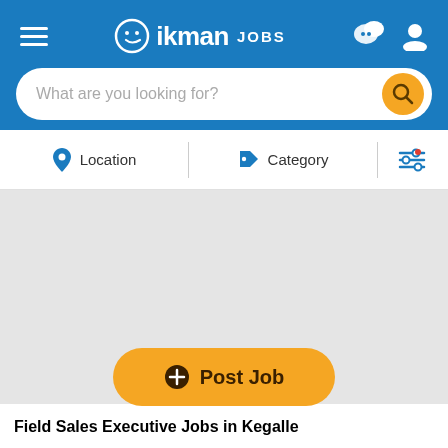ikman JOBS
What are you looking for?
Location | Category
Post Job
Field Sales Executive Jobs in Kegalle